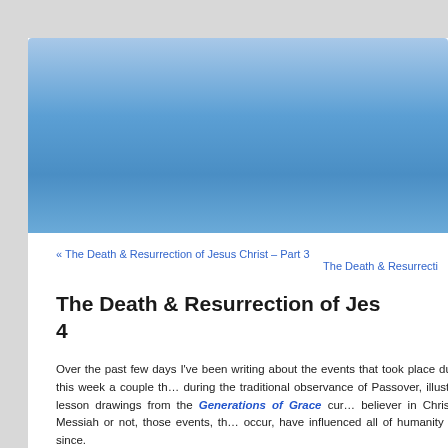[Figure (illustration): Blue gradient banner/header image at the top of the page]
« The Death & Resurrection of Jesus Christ – Part 3
The Death & Resurrectio
The Death & Resurrection of Jes… 4
Over the past few days I've been writing about the events that took place during this week a couple th… during the traditional observance of Passover, illustra… lesson drawings from the Generations of Grace cur… believer in Christ as Messiah or not, those events, th… occur, have influenced all of humanity ever since.